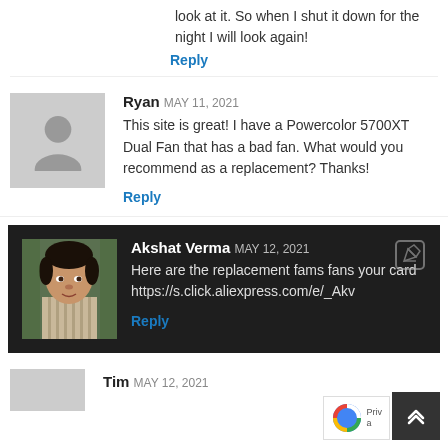look at it. So when I shut it down for the night I will look again!
Reply
Ryan MAY 11, 2021
This site is great! I have a Powercolor 5700XT Dual Fan that has a bad fan. What would you recommend as a replacement? Thanks!
Reply
Akshat Verma MAY 12, 2021
Here are the replacement fams fans your card https://s.click.aliexpress.com/e/_Akv
Reply
Tim MAY 12, 2021